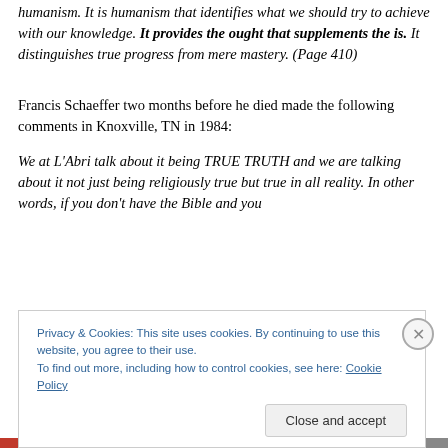humanism. It is humanism that identifies what we should try to achieve with our knowledge. It provides the ought that supplements the is. It distinguishes true progress from mere mastery. (Page 410)
Francis Schaeffer two months before he died made the following comments in Knoxville, TN in 1984:
We at L'Abri talk about it being TRUE TRUTH and we are talking about it not just being religiously true but true in all reality. In other words, if you don't have the Bible and you
Privacy & Cookies: This site uses cookies. By continuing to use this website, you agree to their use.
To find out more, including how to control cookies, see here: Cookie Policy
Close and accept